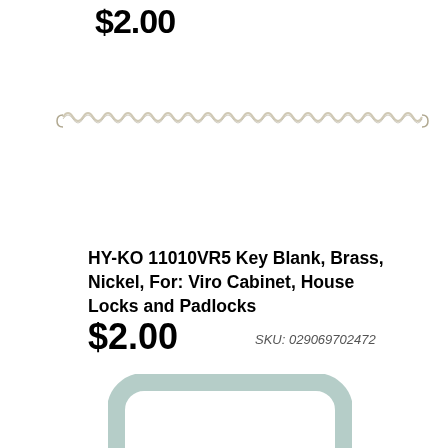$2.00
[Figure (photo): A long coiled spring / key spring, metallic silver/nickel color, shown horizontally spanning most of the page width]
HY-KO 11010VR5 Key Blank, Brass, Nickel, For: Viro Cabinet, House Locks and Padlocks
$2.00
SKU: 029069702472
[Figure (photo): A light blue/gray rounded square bracket or frame shape, partially visible at the bottom of the page]